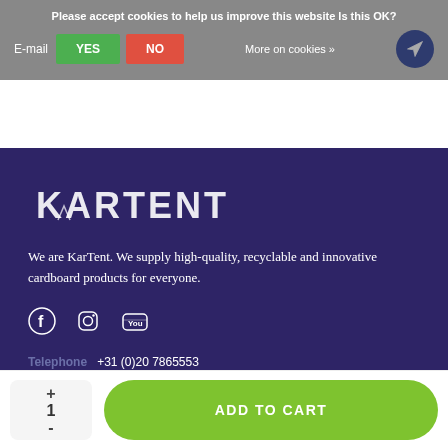Please accept cookies to help us improve this website Is this OK?
E-mail  YES  NO  More on cookies »
[Figure (logo): KarTent logo in white stylized handwritten uppercase letters on dark purple background]
We are KarTent. We supply high-quality, recyclable and innovative cardboard products for everyone.
[Figure (other): Social media icons: Facebook, Instagram, YouTube]
Telephone  +31 (0)20 7865553
1  +  -  ADD TO CART